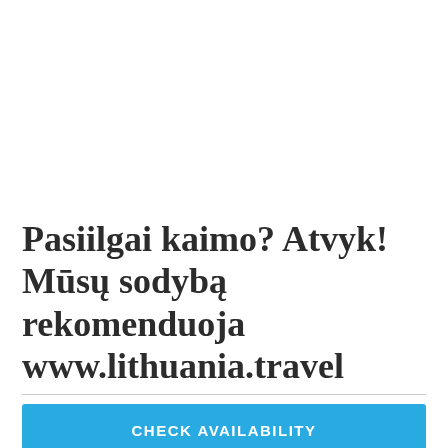Pasiilgai kaimo? Atvyk! Mūsų sodybą rekomenduoja www.lithuania.travel
CHECK AVAILABILITY